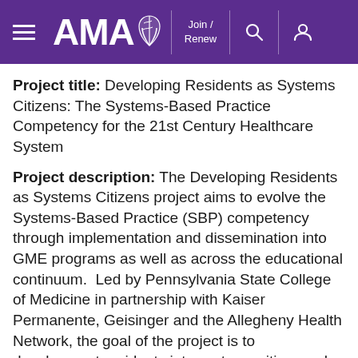AMA — Join / Renew
Project title: Developing Residents as Systems Citizens: The Systems-Based Practice Competency for the 21st Century Healthcare System
Project description: The Developing Residents as Systems Citizens project aims to evolve the Systems-Based Practice (SBP) competency through implementation and dissemination into GME programs as well as across the educational continuum.  Led by Pennsylvania State College of Medicine in partnership with Kaiser Permanente, Geisinger and the Allegheny Health Network, the goal of the project is to development residents into systems citizens who are prepared to contribute to the evolving systems of care and